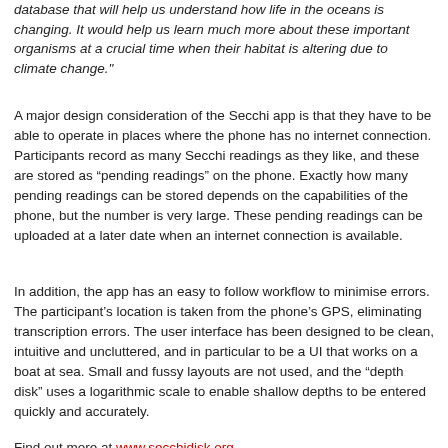database that will help us understand how life in the oceans is changing. It would help us learn much more about these important organisms at a crucial time when their habitat is altering due to climate change."
A major design consideration of the Secchi app is that they have to be able to operate in places where the phone has no internet connection. Participants record as many Secchi readings as they like, and these are stored as “pending readings” on the phone. Exactly how many pending readings can be stored depends on the capabilities of the phone, but the number is very large. These pending readings can be uploaded at a later date when an internet connection is available.
In addition, the app has an easy to follow workflow to minimise errors. The participant’s location is taken from the phone’s GPS, eliminating transcription errors. The user interface has been designed to be clean, intuitive and uncluttered, and in particular to be a UI that works on a boat at sea. Small and fussy layouts are not used, and the “depth disk” uses a logarithmic scale to enable shallow depths to be entered quickly and accurately.
Find out more at www.secchidisk.org
Previous | Next
[Figure (other): Red plus/add button icon]